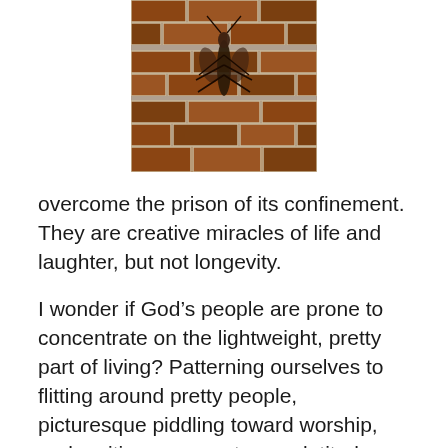[Figure (photo): A close-up photograph of an insect (possibly a cicada or beetle) clinging to or emerging from a brick wall surface.]
overcome the prison of its confinement. They are creative miracles of life and laughter, but not longevity.
I wonder if God’s people are prone to concentrate on the lightweight, pretty part of living? Patterning ourselves to flitting around pretty people, picturesque piddling toward worship, and reciting presumptuous platitudes.
Yet not being truly transformed.
God has not called us to flutter along the breezes of life. He has called us to be bond-servants of the Lord Jesus Christ.